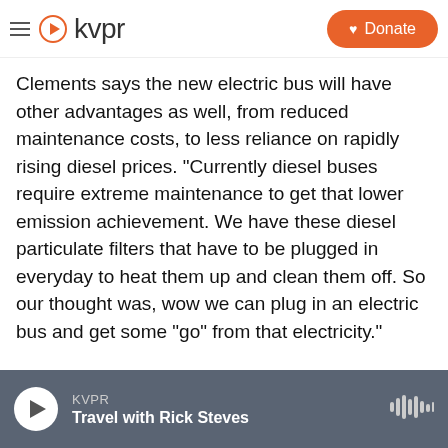KVPR | Donate
Clements says the new electric bus will have other advantages as well, from reduced maintenance costs, to less reliance on rapidly rising diesel prices. “Currently diesel buses require extreme maintenance to get that lower emission achievement. We have these diesel particulate filters that have to be plugged in everyday to heat them up and clean them off. So our thought was, wow we can plug in an electric bus and get some “go” from that electricity.”
The school district recently announced plans to purchase two additional electric buses, thanks to
KVPR | Travel with Rick Steves